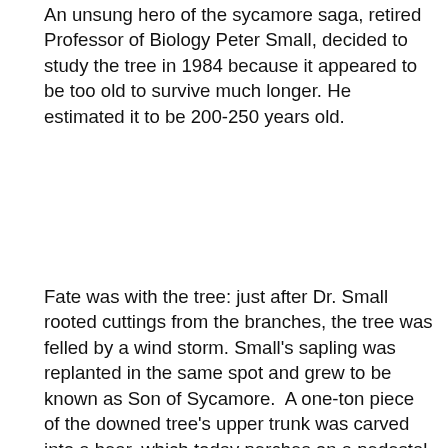An unsung hero of the sycamore saga, retired Professor of Biology Peter Small, decided to study the tree in 1984 because it appeared to be too old to survive much longer. He estimated it to be 200-250 years old.
Fate was with the tree: just after Dr. Small rooted cuttings from the branches, the tree was felled by a wind storm. Small's sapling was replanted in the same spot and grew to be known as Son of Sycamore.  A one-ton piece of the downed tree's upper trunk was carved into a bear, which today perches on a pedestal in the Helfferich gymnasium lobby.
Ursinus became part of the trivia landscape when Parker Brothers included a question in its All American edition of Trivial Pursuit in 1993. At first players were reportedly stumped by the question: "What does Ursinus College have in its football end